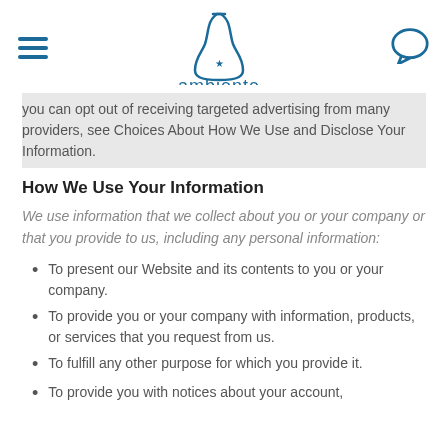[Figure (logo): Ambiente brand logo with bottle/vase icon and star, teal/blue color]
you can opt out of receiving targeted advertising from many providers, see Choices About How We Use and Disclose Your Information.
How We Use Your Information
We use information that we collect about you or your company or that you provide to us, including any personal information:
To present our Website and its contents to you or your company.
To provide you or your company with information, products, or services that you request from us.
To fulfill any other purpose for which you provide it.
To provide you with notices about your account,